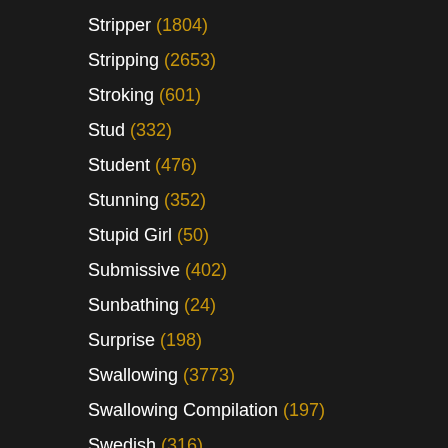Stripper (1804)
Stripping (2653)
Stroking (601)
Stud (332)
Student (476)
Stunning (352)
Stupid Girl (50)
Submissive (402)
Sunbathing (24)
Surprise (198)
Swallowing (3773)
Swallowing Compilation (197)
Swedish (316)
Sweet (1325)
Swimming (24)
Swimming Pool (24)